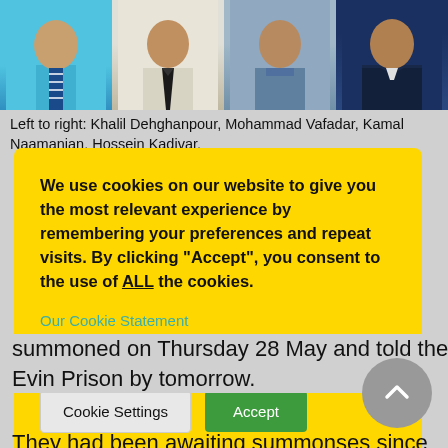[Figure (photo): Four portrait photos of men side by side: Khalil Dehghanpour, Mohammad Vafadar, Kamal Naamanian, Hossein Kadivar]
Left to right: Khalil Dehghanpour, Mohammad Vafadar, Kamal Naamanian, Hossein Kadivar.
We use cookies on our website to give you the most relevant experience by remembering your preferences and repeat visits. By clicking “Accept”, you consent to the use of ALL the cookies.
Our Cookie Statement
Do not sell my personal information.
summoned on Thursday 28 May and told they must submit themselves at Tehran’s Evin Prison by tomorrow.
They had been awaiting summonses since